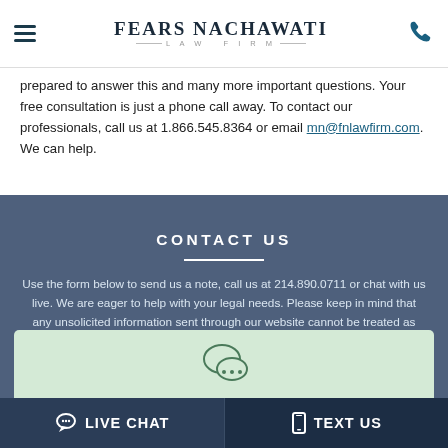FEARS NACHAWATI LAW FIRM
prepared to answer this and many more important questions. Your free consultation is just a phone call away. To contact our professionals, call us at 1.866.545.8364 or email mn@fnlawfirm.com. We can help.
CONTACT US
Use the form below to send us a note, call us at 214.890.0711 or chat with us live. We are eager to help with your legal needs. Please keep in mind that any unsolicited information sent through our website cannot be treated as confidential. Contacting us through this site does not create a representation relationship with Fears Nachawati.
[Figure (illustration): Chat bubble icon in a light green box]
LIVE CHAT  TEXT US